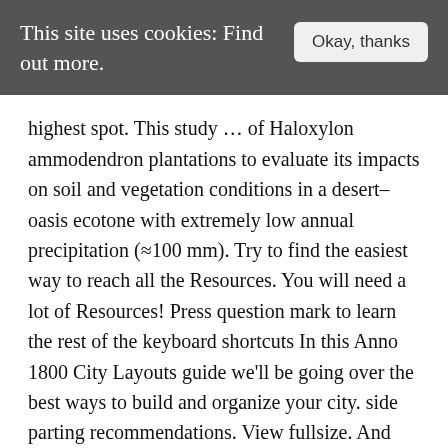This site uses cookies: Find out more.
highest spot. This study … of Haloxylon ammodendron plantations to evaluate its impacts on soil and vegetation conditions in a desert–oasis ecotone with extremely low annual precipitation (≈100 mm). Try to find the easiest way to reach all the Resources. You will need a lot of Resources! Press question mark to learn the rest of the keyboard shortcuts In this Anno 1800 City Layouts guide we'll be going over the best ways to build and organize your city. side parting recommendations. View fullsize. And Here...We....GO Today I give you a look at how I